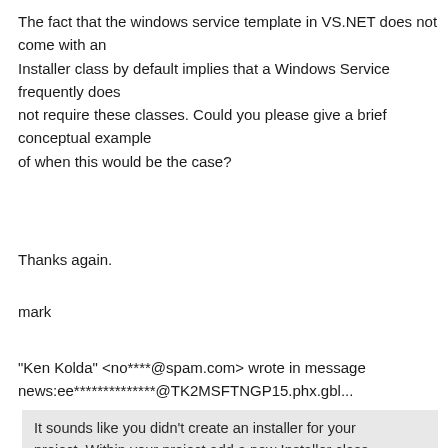The fact that the windows service template in VS.NET does not come with an Installer class by default implies that a Windows Service frequently does not require these classes. Could you please give a brief conceptual example of when this would be the case?
Thanks again.
mark
"Ken Kolda" <no****@spam.com> wrote in message news:ee**************@TK2MSFTNGP15.phx.gbl...
It sounds like you didn't create an installer for your project. Within your project add a new Installer class